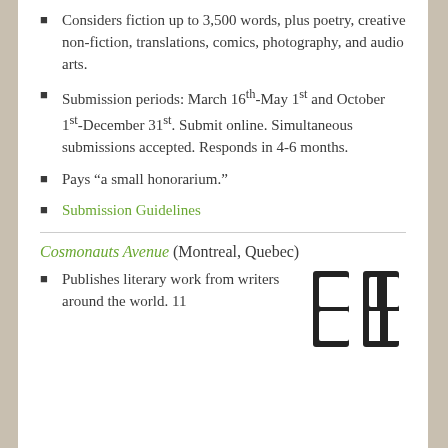Considers fiction up to 3,500 words, plus poetry, creative non-fiction, translations, comics, photography, and audio arts.
Submission periods: March 16th-May 1st and October 1st-December 31st. Submit online. Simultaneous submissions accepted. Responds in 4-6 months.
Pays “a small honorarium.”
Submission Guidelines
Cosmonauts Avenue (Montreal, Quebec)
Publishes literary work from writers around the world. 11